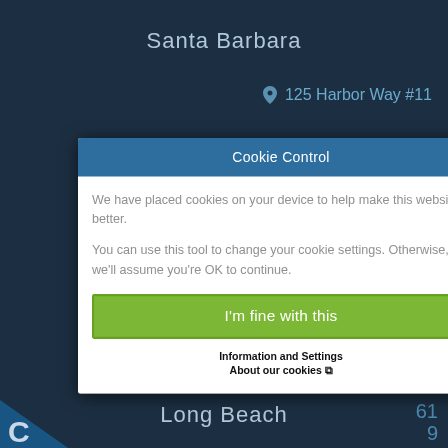Santa Barbara
📍 125 Harbor Way #11
Cookie Control
We have placed cookies on your device to help make this website better.
You can use this tool to change your cookie settings. Otherwise, we'll assume you're OK to continue.
I'm fine with this
Information and Settings
About our cookies ↗
Long Beach